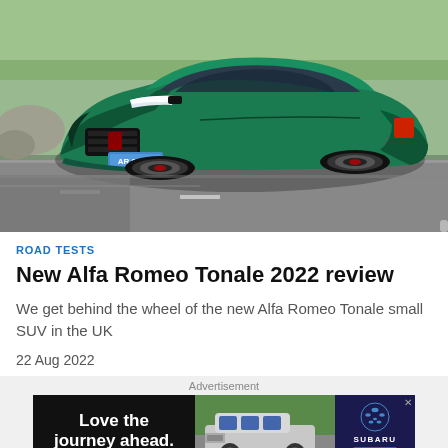[Figure (photo): Green Alfa Romeo Tonale 2022 small SUV driving on a road, front three-quarter view, with license plate AR 022 TI]
ROAD TESTS
New Alfa Romeo Tonale 2022 review
We get behind the wheel of the new Alfa Romeo Tonale small SUV in the UK
22 Aug 2022
[Figure (other): Subaru advertisement banner with text 'Love the journey ahead.' showing a silver Subaru SUV on a green background, with Subaru logo and Explore button]